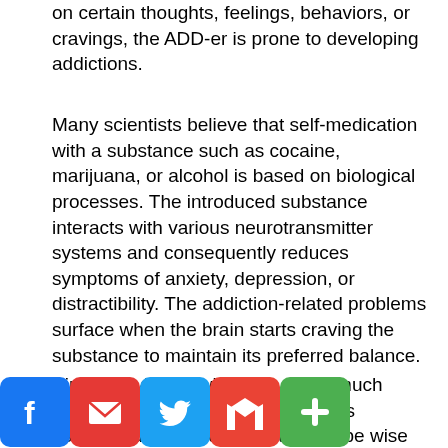on certain thoughts, feelings, behaviors, or cravings, the ADD-er is prone to developing addictions.
Many scientists believe that self-medication with a substance such as cocaine, marijuana, or alcohol is based on biological processes. The introduced substance interacts with various neurotransmitter systems and consequently reduces symptoms of anxiety, depression, or distractibility. The addiction-related problems surface when the brain starts craving the substance to maintain its preferred balance.
Since individuals with ADD are at much greater risk for developing problems associated with addiction, it would be wise for anyone who suffers from ADD to be aware of this inherent predisposition.
Many adults with ADD who don't know they have it but have successfully obtained years of continuous sobriety